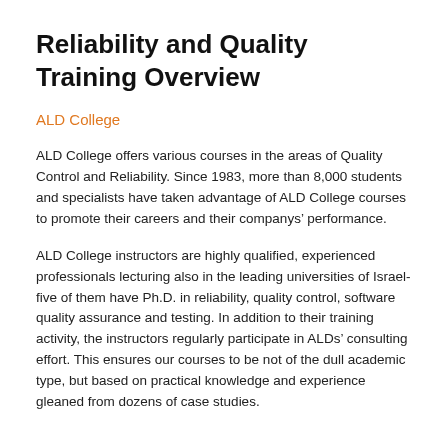Reliability and Quality Training Overview
ALD College
ALD College offers various courses in the areas of Quality Control and Reliability. Since 1983, more than 8,000 students and specialists have taken advantage of ALD College courses to promote their careers and their companys’ performance.
ALD College instructors are highly qualified, experienced professionals lecturing also in the leading universities of Israel- five of them have Ph.D. in reliability, quality control, software quality assurance and testing. In addition to their training activity, the instructors regularly participate in ALDs’ consulting effort. This ensures our courses to be not of the dull academic type, but based on practical knowledge and experience gleaned from dozens of case studies.